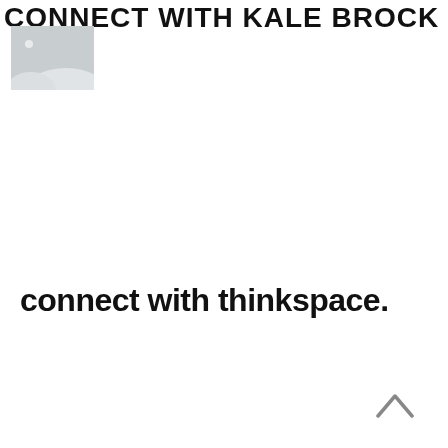CONNECT WITH KALE BROCK
[Figure (photo): Placeholder image thumbnail with grey sky and white clouds/hills silhouette]
connect with thinkspace.
[Figure (other): Chevron/caret up arrow icon in grey, bottom right corner]